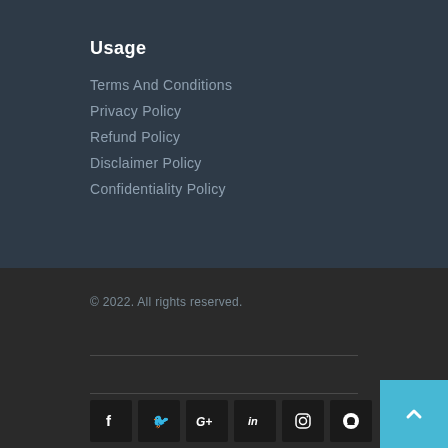Usage
Terms And Conditions
Privacy Policy
Refund Policy
Disclaimer Policy
Confidentiality Policy
© 2022. All rights reserved.